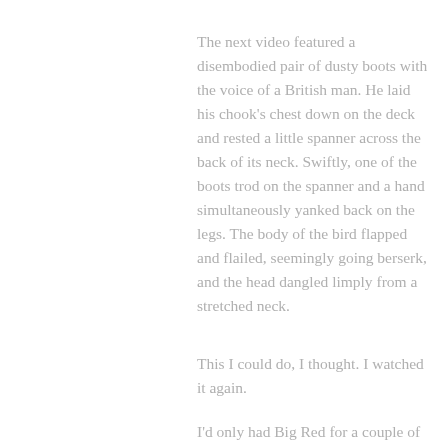The next video featured a disembodied pair of dusty boots with the voice of a British man. He laid his chook's chest down on the deck and rested a little spanner across the back of its neck. Swiftly, one of the boots trod on the spanner and a hand simultaneously yanked back on the legs. The body of the bird flapped and flailed, seemingly going berserk, and the head dangled limply from a stretched neck.
This I could do, I thought. I watched it again.
I'd only had Big Red for a couple of